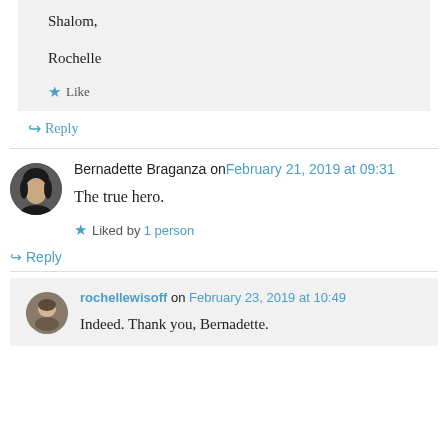Shalom,

Rochelle
★ Like
↪ Reply
Bernadette Braganza on February 21, 2019 at 09:31
The true hero.
★ Liked by 1 person
↪ Reply
rochellewisoff on February 23, 2019 at 10:49
Indeed. Thank you, Bernadette.